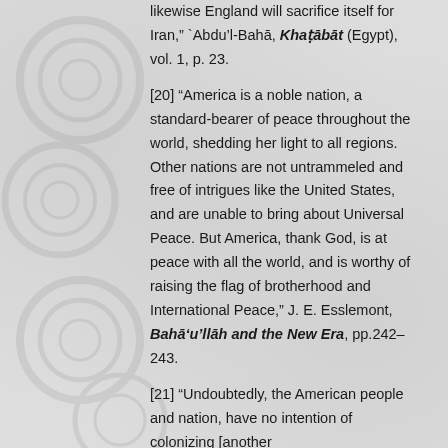likewise England will sacrifice itself for Iran," `Abdu'l-Bahā, Khaṭābāt (Egypt), vol. 1, p. 23.
[20] "America is a noble nation, a standard-bearer of peace throughout the world, shedding her light to all regions. Other nations are not untrammeled and free of intrigues like the United States, and are unable to bring about Universal Peace. But America, thank God, is at peace with all the world, and is worthy of raising the flag of brotherhood and International Peace," J. E. Esslemont, Bahā'u'llāh and the New Era, pp.242–243.
[21] "Undoubtedly, the American people and nation, have no intention of colonizing [another